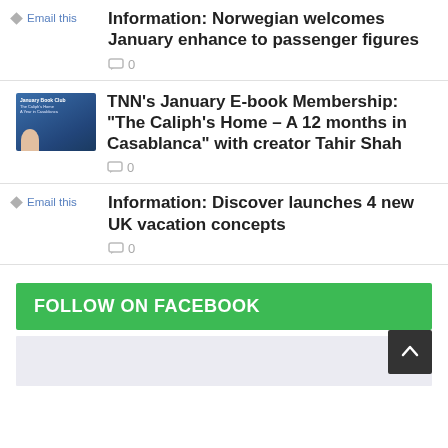Email this | Information: Norwegian welcomes January enhance to passenger figures | 0 comments
[Figure (photo): Thumbnail image for TNN's January E-book Membership article showing a book club graphic]
TNN’s January E-book Membership: “The Caliph’s Home – A 12 months in Casablanca” with creator Tahir Shah | 0 comments
Email this | Information: Discover launches 4 new UK vacation concepts | 0 comments
FOLLOW ON FACEBOOK